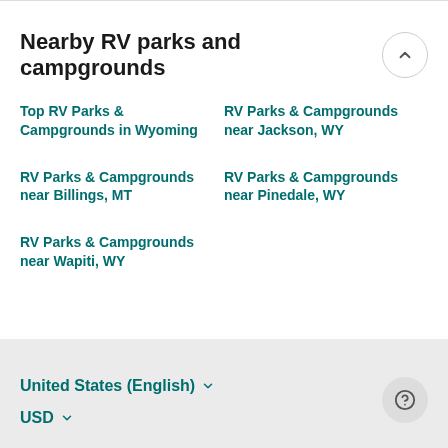Nearby RV parks and campgrounds
Top RV Parks & Campgrounds in Wyoming
RV Parks & Campgrounds near Jackson, WY
RV Parks & Campgrounds near Billings, MT
RV Parks & Campgrounds near Pinedale, WY
RV Parks & Campgrounds near Wapiti, WY
United States (English)
USD